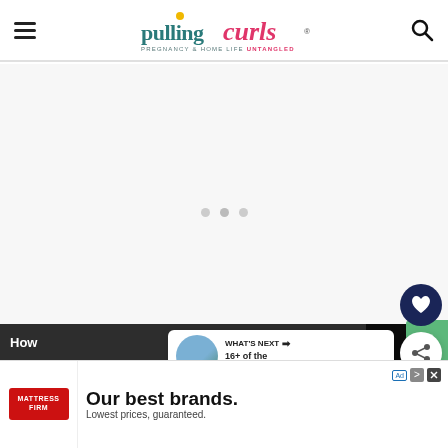Pulling Curls — Pregnancy & Home Life Untangled
[Figure (screenshot): Main content area placeholder with three loading dots indicating ad or content loading]
[Figure (illustration): Dark navy circular heart favorite button (FAB)]
[Figure (illustration): White circular share button (FAB) with share icon]
[Figure (screenshot): What's Next card showing thumbnail and text '16+ of the Best...']
[Figure (screenshot): Partial green card visible at bottom right]
How
[Figure (screenshot): Advertisement banner for Mattress Firm: 'Our best brands. Lowest prices, guaranteed.']